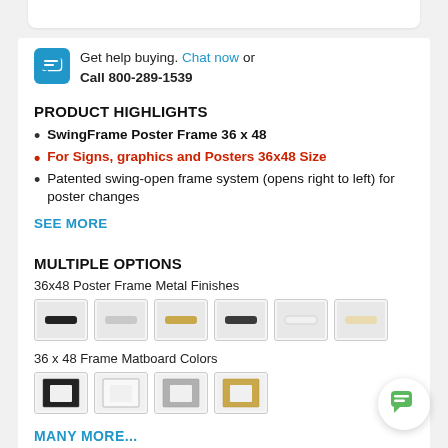Get help buying. Chat now or Call 800-289-1539
PRODUCT HIGHLIGHTS
SwingFrame Poster Frame 36 x 48
For Signs, graphics and Posters 36x48 Size
Patented swing-open frame system (opens right to left) for poster changes
SEE MORE
MULTIPLE OPTIONS
36x48 Poster Frame Metal Finishes
[Figure (other): Six metal finish color swatches for 36x48 poster frame: black, silver, gold/champagne, dark bronze/gunmetal, white, cream/ivory]
36 x 48 Frame Matboard Colors
[Figure (other): Four matboard color swatches: black, white, gray, gold/tan]
MANY MORE...